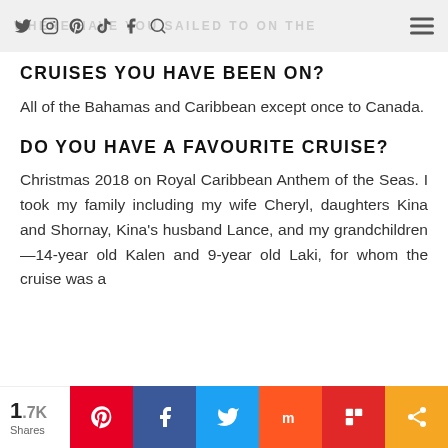WHERE HAVE YOU SAILED TO ON THE CRUISES YOU HAVE BEEN ON?
CRUISES YOU HAVE BEEN ON?
All of the Bahamas and Caribbean except once to Canada.
DO YOU HAVE A FAVOURITE CRUISE?
Christmas 2018 on Royal Caribbean Anthem of the Seas. I took my family including my wife Cheryl, daughters Kina and Shornay, Kina's husband Lance, and my grandchildren—14-year old Kalen and 9-year old Laki, for whom the cruise was a
1.7K Shares — social share buttons: Pinterest, Facebook, Twitter, Mix, Flipboard, Share